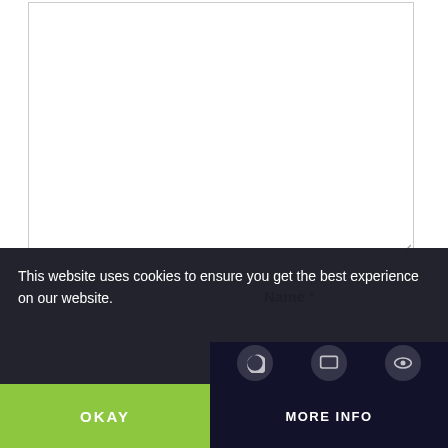[Figure (screenshot): Web form with textarea, name/email/website input fields, math challenge, and cookie consent banner overlay]
Name *
Email *
Website
eight − 1 =
Post Comment
This website uses cookies to ensure you get the best experience on our website.
OKAY
MORE INFO